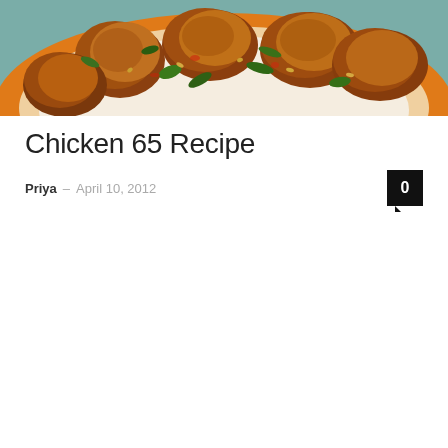[Figure (photo): Chicken 65 dish on an orange-rimmed white plate, showing deep-fried golden-brown chicken pieces garnished with green herbs and curry leaves]
Chicken 65 Recipe
Priya – April 10, 2012
0